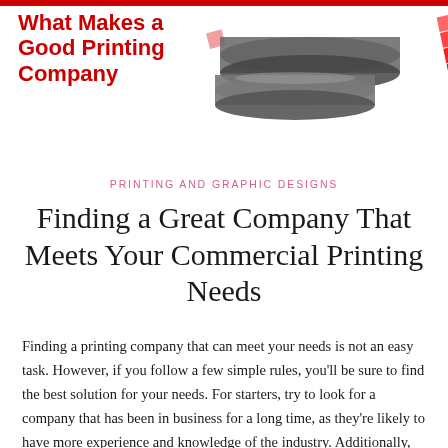[Figure (illustration): Printing press rollers with colorful CMYK color swatch grid in the background, decorative header illustration]
What Makes a Good Printing Company
PRINTING AND GRAPHIC DESIGNS
Finding a Great Company That Meets Your Commercial Printing Needs
Finding a printing company that can meet your needs is not an easy task. However, if you follow a few simple rules, you'll be sure to find the best solution for your needs. For starters, try to look for a company that has been in business for a long time, as they're likely to have more experience and knowledge of the industry. Additionally, look for a company with a history of growth and